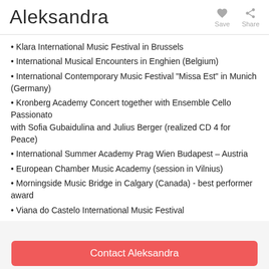Aleksandra
Klara International Music Festival in Brussels
International Musical Encounters in Enghien (Belgium)
International Contemporary Music Festival “Missa Est” in Munich (Germany)
Kronberg Academy Concert together with Ensemble Cello Passionato with Sofia Gubaidulina and Julius Berger (realized CD 4 for Peace)
International Summer Academy Prag Wien Budapest – Austria
European Chamber Music Academy (session in Vilnius)
Morningside Music Bridge in Calgary (Canada) - best performer award
Viana do Castelo International Music Festival
Contact Aleksandra